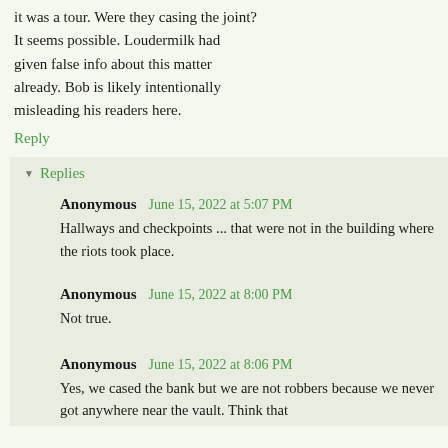it was a tour. Were they casing the joint? It seems possible. Loudermilk had given false info about this matter already. Bob is likely intentionally misleading his readers here.
Reply
Replies
Anonymous  June 15, 2022 at 5:07 PM
Hallways and checkpoints ... that were not in the building where the riots took place.
Anonymous  June 15, 2022 at 8:00 PM
Not true.
Anonymous  June 15, 2022 at 8:06 PM
Yes, we cased the bank but we are not robbers because we never got anywhere near the vault. Think that